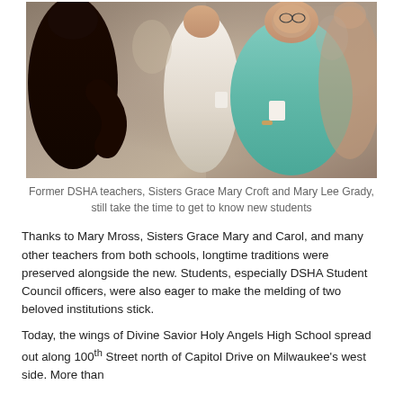[Figure (photo): Group of people at an indoor gathering. On the left is a person in a black top. In the center is a woman in white holding a cup. On the right is an older woman in a teal/mint top holding a cup, smiling. Several other people are visible in the background.]
Former DSHA teachers, Sisters Grace Mary Croft and Mary Lee Grady, still take the time to get to know new students
Thanks to Mary Mross, Sisters Grace Mary and Carol, and many other teachers from both schools, longtime traditions were preserved alongside the new. Students, especially DSHA Student Council officers, were also eager to make the melding of two beloved institutions stick.
Today, the wings of Divine Savior Holy Angels High School spread out along 100th Street north of Capitol Drive on Milwaukee's west side. More than